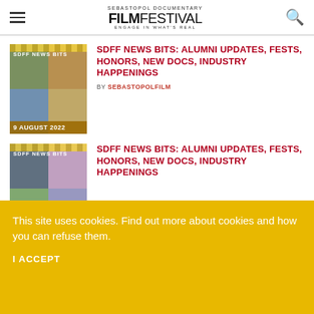SEBASTOPOL DOCUMENTARY FILM FESTIVAL — ENGAGE IN WHAT'S REAL
[Figure (photo): SDFF NEWS BITS thumbnail showing film mosaic with date 9 AUGUST 2022]
SDFF NEWS BITS: ALUMNI UPDATES, FESTS, HONORS, NEW DOCS, INDUSTRY HAPPENINGS
BY SEBASTOPOLFILM
[Figure (photo): SDFF NEWS BITS thumbnail showing film mosaic with date 2 AUGUST 2022]
SDFF NEWS BITS: ALUMNI UPDATES, FESTS, HONORS, NEW DOCS, INDUSTRY HAPPENINGS
This site uses cookies. Find out more about cookies and how you can refuse them.
I ACCEPT